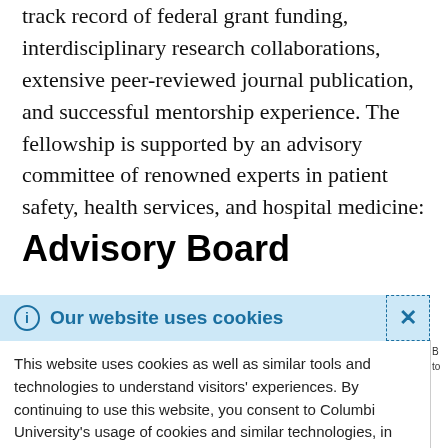track record of federal grant funding, interdisciplinary research collaborations, extensive peer-reviewed journal publication, and successful mentorship experience. The fellowship is supported by an advisory committee of renowned experts in patient safety, health services, and hospital medicine:
Advisory Board
Our website uses cookies — This website uses cookies as well as similar tools and technologies to understand visitors' experiences. By continuing to use this website, you consent to Columbia University's usage of cookies and similar technologies, in accordance with the Columbia University Website Cookie Notice.